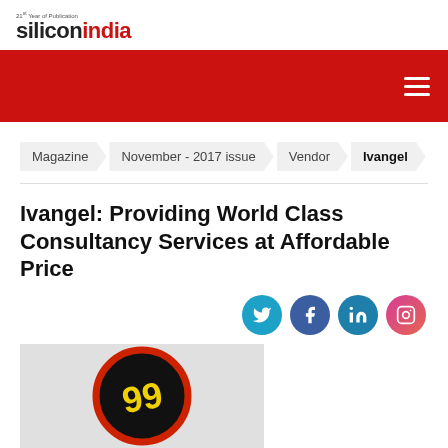siliconindia
Magazine › November - 2017 issue › Vendor › Ivangel
Ivangel: Providing World Class Consultancy Services at Affordable Price
[Figure (logo): Ivangel company logo — stylized '99' in yellow on black circle with red/orange ring, on grey background]